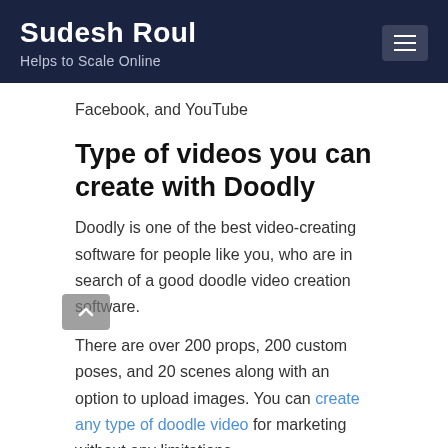Sudesh Roul — Helps to Scale Online
Facebook, and YouTube
Type of videos you can create with Doodly
Doodly is one of the best video-creating software for people like you, who are in search of a good doodle video creation software.
There are over 200 props, 200 custom poses, and 20 scenes along with an option to upload images. You can create any type of doodle video for marketing without any limitations.
You have the freedom to pick from greenboard,